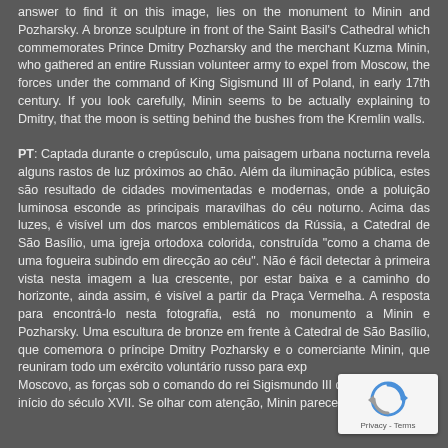answer to find it on this image, lies on the monument to Minin and Pozharsky. A bronze sculpture in front of the Saint Basil's Cathedral which commemorates Prince Dmitry Pozharsky and the merchant Kuzma Minin, who gathered an entire Russian volunteer army to expel from Moscow, the forces under the command of King Sigismund III of Poland, in early 17th century. If you look carefully, Minin seems to be actually explaining to Dmitry, that the moon is setting behind the bushes from the Kremlin walls.
PT: Captada durante o crepúsculo, uma paisagem urbana nocturna revela alguns rastos de luz próximos ao chão. Além da iluminação pública, estes são resultado de cidades movimentadas e modernas, onde a poluição luminosa esconde as principais maravilhas do céu noturno. Acima das luzes, é visível um dos marcos emblemáticos da Rússia, a Catedral de São Basílio, uma igreja ortodoxa colorida, construída "como a chama de uma fogueira subindo em direcção ao céu". Não é fácil detectar à primeira vista nesta imagem a lua crescente, por estar baixa e a caminho do horizonte, ainda assim, é visível a partir da Praça Vermelha. A resposta para encontrá-lo nesta fotografia, está no monumento a Minin e Pozharsky. Uma escultura de bronze em frente à Catedral de São Basílio, que comemora o príncipe Dmitry Pozharsky e o comerciante Minin, que reuniram todo um exército voluntário russo para exp... Moscovo, as forças sob o comando do rei Sigismundo III da Pol... início do século XVII. Se olhar com atenção, Minin parece estar realmente
[Figure (other): reCAPTCHA badge overlay in bottom-right corner showing the reCAPTCHA logo and Privacy - Terms text]